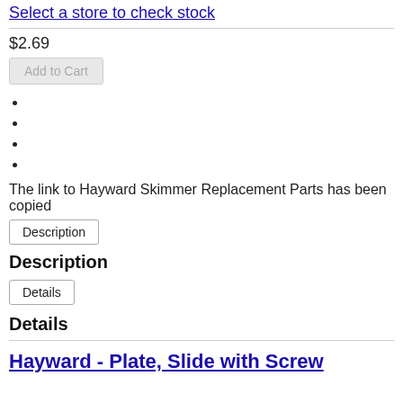Select a store to check stock
$2.69
Add to Cart
The link to Hayward Skimmer Replacement Parts has been copied
Description
Description
Details
Details
Hayward - Plate, Slide with Screw